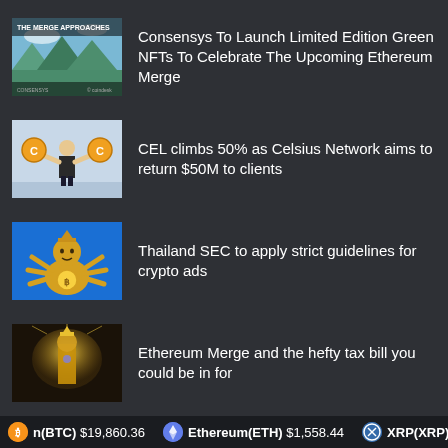[Figure (illustration): Partial thumbnail at top of page, mostly cropped]
[Figure (illustration): THE MERGE APPROACHES - illustrated scene with futuristic/fantasy landscape for Ethereum Merge NFT article]
Consensys To Launch Limited Edition Green NFTs To Celebrate The Upcoming Ethereum Merge
[Figure (illustration): Illustration of a man lifting gold coin characters shaped like the CEL/Celsius token logo]
CEL climbs 50% as Celsius Network aims to return $50M to clients
[Figure (illustration): Illustration of a multi-armed golden deity figure on blue background, crypto themed]
Thailand SEC to apply strict guidelines for crypto ads
[Figure (illustration): Gold statue/figure with glowing light, cryptocurrency themed]
Ethereum Merge and the hefty tax bill you could be in for
n(BTC) $19,860.36   Ethereum(ETH) $1,558.44   XRP(XRP) $